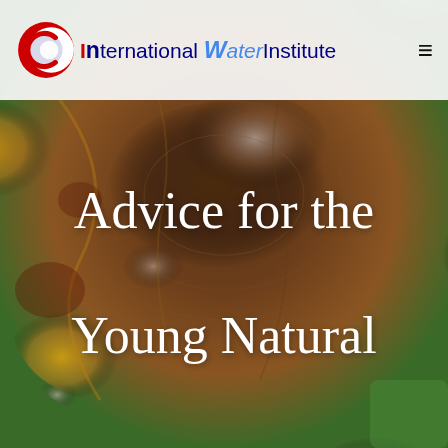[Figure (other): Topographic/terrain map background image with green, orange, brown, and yellow elevation color coding showing a drainage basin or watershed area]
International Water Institute
Advice for the Young Natural